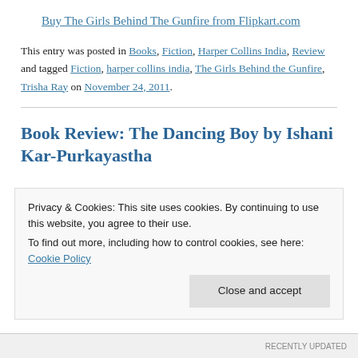Buy The Girls Behind The Gunfire from Flipkart.com
This entry was posted in Books, Fiction, Harper Collins India, Review and tagged Fiction, harper collins india, The Girls Behind the Gunfire, Trisha Ray on November 24, 2011.
Book Review: The Dancing Boy by Ishani Kar-Purkayastha
Privacy & Cookies: This site uses cookies. By continuing to use this website, you agree to their use. To find out more, including how to control cookies, see here: Cookie Policy
Close and accept
RECENTLY UPDATED